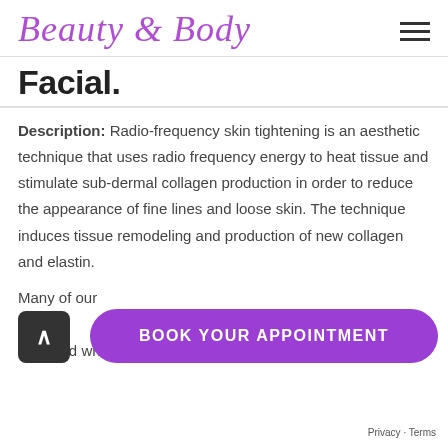Beauty & Body
Facial.
Description: Radio-frequency skin tightening is an aesthetic technique that uses radio frequency energy to heat tissue and stimulate sub-dermal collagen production in order to reduce the appearance of fine lines and loose skin. The technique induces tissue remodeling and production of new collagen and elastin.
Many of our clients forehead wrinkles and crow's feet being